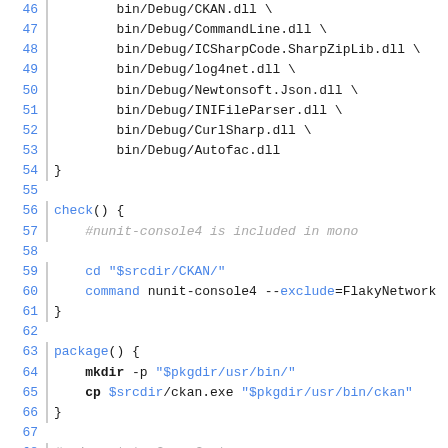Code listing lines 46-68 showing build/check/package shell script functions
Copyright © 2004-2020 aurweb Development Team – AUR packages are user produced content. Any use of the provided files is at your own risk.